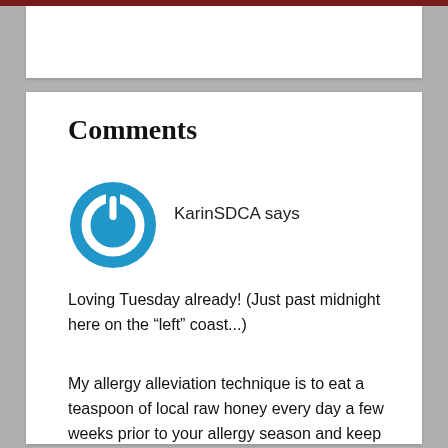Comments
[Figure (illustration): Blue circular power button icon — avatar for commenter KarinSDCA]
KarinSDCA says
Loving Tuesday already! (Just past midnight here on the “left” coast...)
My allergy alleviation technique is to eat a teaspoon of local raw honey every day a few weeks prior to your allergy season and keep it up during the season. Aim for honey made from bees who pollinate your allergen l